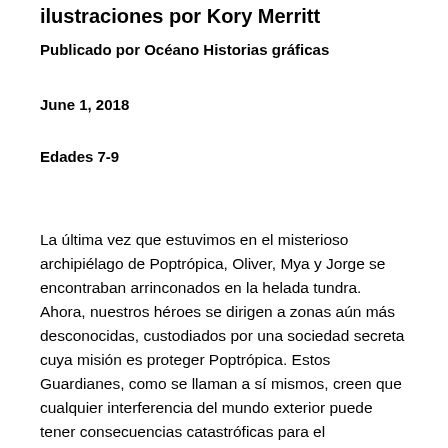ilustraciones por Kory Merritt
Publicado por Océano Historias gráficas
June 1, 2018
Edades 7-9
La última vez que estuvimos en el misterioso archipiélago de Poptrópica, Oliver, Mya y Jorge se encontraban arrinconados en la helada tundra. Ahora, nuestros héroes se dirigen a zonas aún más desconocidas, custodiados por una sociedad secreta cuya misión es proteger Poptrópica. Estos Guardianes, como se llaman a sí mismos, creen que cualquier interferencia del mundo exterior puede tener consecuencias catastróficas para el